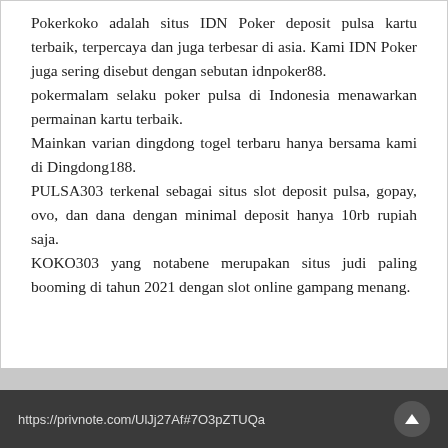Pokerkoko adalah situs IDN Poker deposit pulsa kartu terbaik, terpercaya dan juga terbesar di asia. Kami IDN Poker juga sering disebut dengan sebutan idnpoker88.
pokermalam selaku poker pulsa di Indonesia menawarkan permainan kartu terbaik.
Mainkan varian dingdong togel terbaru hanya bersama kami di Dingdong188.
PULSA303 terkenal sebagai situs slot deposit pulsa, gopay, ovo, dan dana dengan minimal deposit hanya 10rb rupiah saja.
KOKO303 yang notabene merupakan situs judi paling booming di tahun 2021 dengan slot online gampang menang.
https://privnote.com/UlJj27Af#7O3pZTUQa